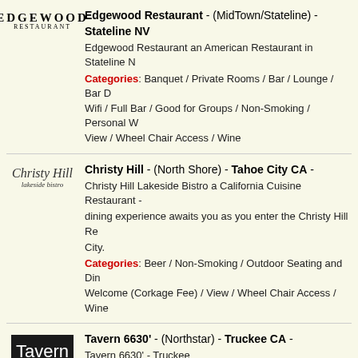[Figure (logo): Edgewood Restaurant logo - text logo with EDGEWOOD in spaced caps and RESTAURANT below]
Edgewood Restaurant - (MidTown/Stateline) - Stateline NV - Edgewood Restaurant an American Restaurant in Stateline. Categories: Banquet / Private Rooms / Bar / Lounge / Bar Dining / Wifi / Full Bar / Good for Groups / Non-Smoking / Personal Wines Welcome / View / Wheel Chair Access / Wine
[Figure (logo): Christy Hill Lakeside Bistro cursive script logo]
Christy Hill - (North Shore) - Tahoe City CA - Christy Hill Lakeside Bistro a California Cuisine Restaurant - dining experience awaits you as you enter the Christy Hill Re... City. Categories: Beer / Non-Smoking / Outdoor Seating and Dining / Welcome (Corkage Fee) / View / Wheel Chair Access / Wine
[Figure (logo): Tavern 6630 logo - white text on black background]
Tavern 6630' - (Northstar) - Truckee CA - Tavern 6630' - Truckee Categories: Bar / Lounge / Bar Dining / Beer / Counter Seating / Farm to Table / Fireplace / Full Bar / Happy Hour / Late Night / Outdoor Seating and Dining / Patio / Personal Wines Welcome / Area / Take Out / Wheel Chair Access / Wine / Wine Bars